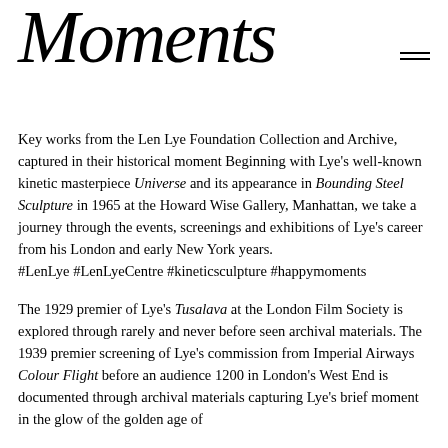Moments
Key works from the Len Lye Foundation Collection and Archive, captured in their historical moment Beginning with Lye's well-known kinetic masterpiece Universe and its appearance in Bounding Steel Sculpture in 1965 at the Howard Wise Gallery, Manhattan, we take a journey through the events, screenings and exhibitions of Lye's career from his London and early New York years.
#LenLye #LenLyeCentre #kineticsculpture #happymoments
The 1929 premier of Lye's Tusalava at the London Film Society is explored through rarely and never before seen archival materials. The 1939 premier screening of Lye's commission from Imperial Airways Colour Flight before an audience 1200 in London's West End is documented through archival materials capturing Lye's brief moment in the glow of the golden age of